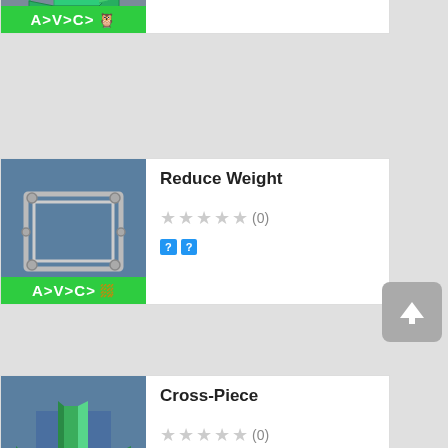[Figure (screenshot): 3D model thumbnail of a green L-shaped connector piece on gray background, with green label bar 'A>V>C>' and horseshoe icon]
★★★★★ (1)
? ?
[Figure (screenshot): 3D model thumbnail of a rectangular frame/bracket component on blue-gray background, labeled 'Reduce Weight', with green label bar 'A>V>C>' and horseshoe icon]
Reduce Weight
★★★★★ (0)
? ?
[Figure (screenshot): 3D model thumbnail of a green cross-piece / T-section structural component on blue background, labeled 'Cross-Piece', with green label bar 'A>V>C>' and horseshoe icon]
Cross-Piece
★★★★★ (0)
? ?
[Figure (screenshot): 3D model thumbnail of a green crescent/C-shaped ribbed part on blue background, labeled 'Chop', with green label bar 'A>V>C>' and horseshoe icon]
Chop
★★★★★ (0)
? ?